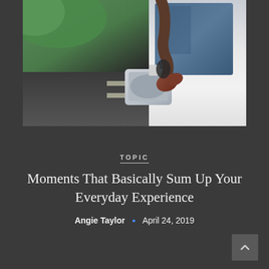[Figure (photo): A person dangling their shoe/foot out of a car window, with a white car side mirror visible and road in background. Outdoor daylight scene.]
TOPIC
Moments That Basically Sum Up Your Everyday Experience
Angie Taylor • April 24, 2019